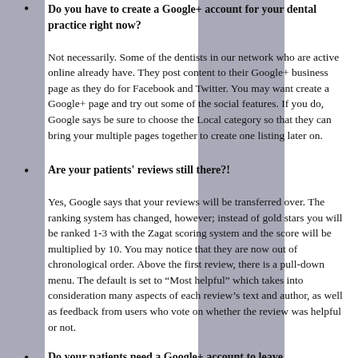Do you have to create a Google+ account for your dental practice right now?
Not necessarily. Some of the dentists in our network who are active online already have. They post content to their Google+ business page as they do for Facebook and Twitter. You may want create a Google+ page and try out some of the social features. If you do, Google says be sure to choose the Local category so that they can bring your multiple pages together to create one listing later on.
Are your patients' reviews still there?!
Yes, Google says that your reviews will be transferred over. The ranking system has changed, however; instead of gold stars you will be ranked 1-3 with the Zagat scoring system and the score will be multiplied by 10. You may notice that they are now out of chronological order. Above the first review, there is a pull-down menu. The default is set to “Most helpful” which takes into consideration many aspects of each review’s text and author, as well as feedback from users who vote on whether the review was helpful or not.
Do your patients need a Google+ account to leave